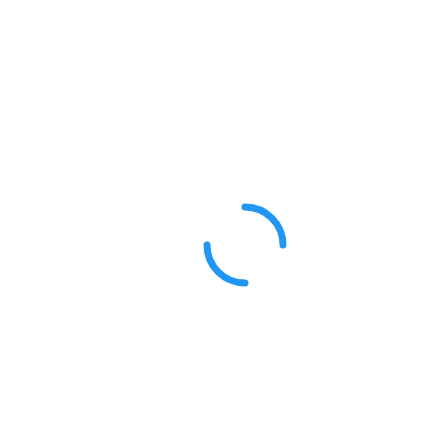[Figure (other): Loading spinner icon — two blue arc segments forming an incomplete circle, indicating a loading or processing state. Located in the center-right area of an otherwise blank white page.]